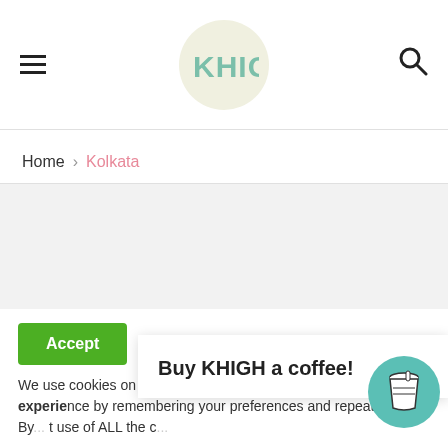KHIGH (logo)
Home › Kolkata
[Figure (other): Gray content placeholder area]
Accept
We use cookies on our website to give you the most relevant experience by remembering your preferences and repeat visits. By clicking "Accept", you consent to the use of ALL the cookies.
Buy KHIGH a coffee!